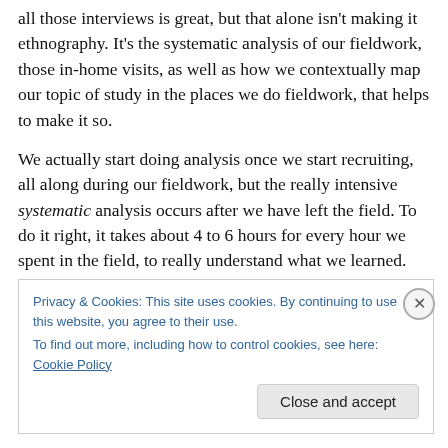all those interviews is great, but that alone isn't making it ethnography. It's the systematic analysis of our fieldwork, those in-home visits, as well as how we contextually map our topic of study in the places we do fieldwork, that helps to make it so.
We actually start doing analysis once we start recruiting, all along during our fieldwork, but the really intensive systematic analysis occurs after we have left the field. To do it right, it takes about 4 to 6 hours for every hour we spent in the field, to really understand what we learned.
Privacy & Cookies: This site uses cookies. By continuing to use this website, you agree to their use.
To find out more, including how to control cookies, see here: Cookie Policy